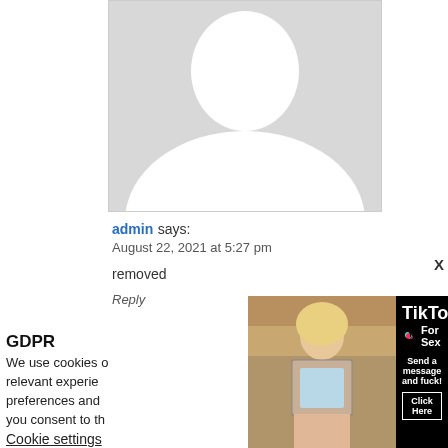[Figure (photo): Blurred/redacted profile avatar photo with white silhouette on gray background]
admin says:
August 22, 2021 at 5:27 pm

removed

Reply
[Figure (photo): Photo of a blonde woman seated in a kitchen, partially clothed]
[Figure (advertisement): TikTok For Sex advertisement with text: TikTok For Sex, Send a message and fuck!, Click Here]
GDPR
We use cookies o... relevant experie... preferences and ... you consent to th...
Cookie settings